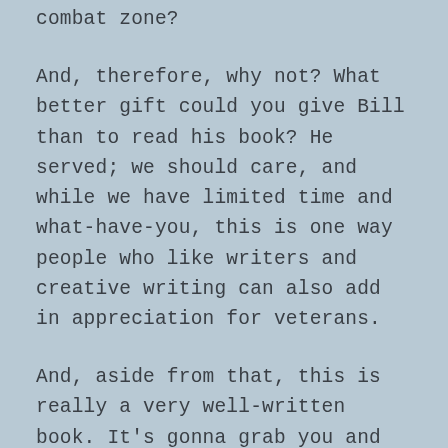combat zone?
And, therefore, why not? What better gift could you give Bill than to read his book? He served; we should care, and while we have limited time and what-have-you, this is one way people who like writers and creative writing can also add in appreciation for veterans.
And, aside from that, this is really a very well-written book. It's gonna grab you and